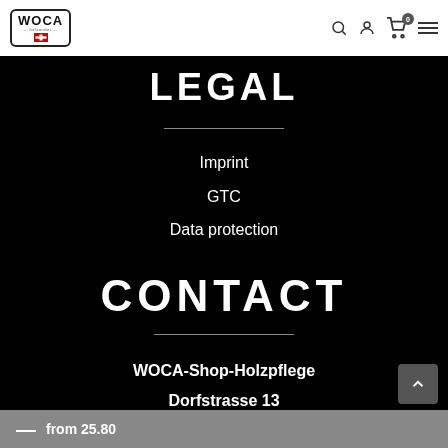WOCA navigation bar with logo, search, account, cart (0), and menu icons
LEGAL
Imprint
GTC
Data protection
CONTACT
WOCA-Shop-Holzpflege
Dorfstrasse 13
8331 Auslikon
— from 25.80